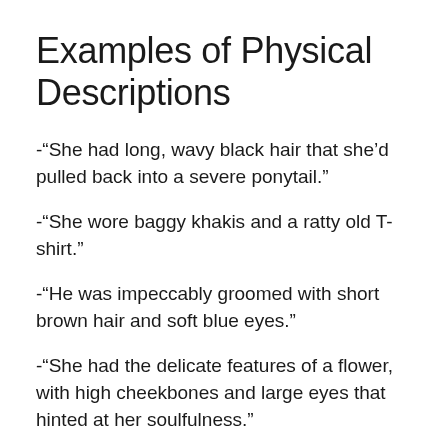Examples of Physical Descriptions
-“She had long, wavy black hair that she’d pulled back into a severe ponytail.”
-“She wore baggy khakis and a ratty old T-shirt.”
-“He was impeccably groomed with short brown hair and soft blue eyes.”
-“She had the delicate features of a flower, with high cheekbones and large eyes that hinted at her soulfulness.”
-“Her black hair was in a high ponytail, and she wore a short red skirt with white Da Vinci-like henna designs that ran from